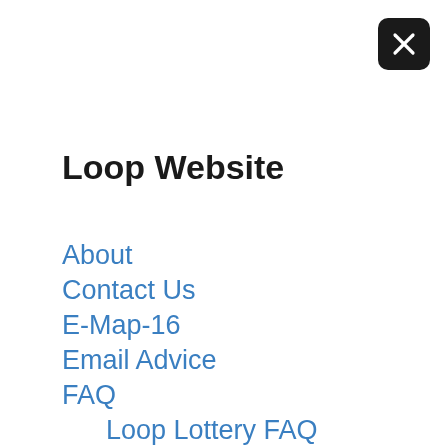Loop Website
About
Contact Us
E-Map-16
Email Advice
FAQ
Loop Lottery FAQ
Loop Merchandise
Page List
Post List
Trail Mix FAQ
Follow the Loop